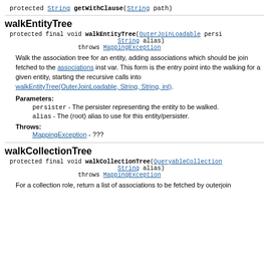protected String getWithClause(String path)
walkEntityTree
protected final void walkEntityTree(OuterJoinLoadable persister, String alias) throws MappingException
Walk the association tree for an entity, adding associations which should be join fetched to the associations inst var. This form is the entry point into the walking for a given entity, starting the recursive calls into walkEntityTree(OuterJoinLoadable, String, String, int).
Parameters:
persister - The persister representing the entity to be walked.
alias - The (root) alias to use for this entity/persister.
Throws:
MappingException - ???
walkCollectionTree
protected final void walkCollectionTree(QueryableCollection persister, String alias) throws MappingException
For a collection role, return a list of associations to be fetched by outerjoin